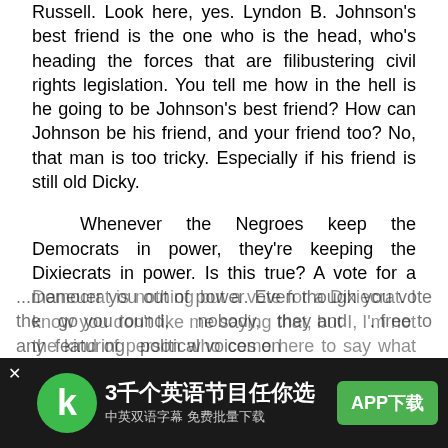Russell. Look here, yes. Lyndon B. Johnson's best friend is the one who is the head, who's heading the forces that are filibustering civil rights legislation. You tell me how in the hell is he going to be Johnson's best friend? How can Johnson be his friend, and your friend too? No, that man is too tricky. Especially if his friend is still old Dicky.
Whenever the Negroes keep the Democrats in power, they're keeping the Dixiecrats in power. Is this true? A vote for a Democrat is nothing but a vote for a Dixiecrat. I know you don't like me saying that, but I, I'm not the kind of person who come here to say what you like. I'm going to tell you the truth, whether you like it or not.
Up here, in the North you have the same thing. The Democratic party don't -- don't do it. They don't do it that way. They got a think that they call gerrymandering. They --
...maneuer you out of power. Even though you vote they go you round, nobody, they and fixed. free to any featuring political voices on
[Figure (screenshot): Mobile app advertisement banner at bottom of screen. Dark background with app icon (green circle with white K), Chinese text '3千个英语节目任你选' (3000 English programs to choose from), subtitle '中英双语字幕 免费批量下载' (Chinese-English subtitles, free batch download), and green 'APP下载' (APP Download) button. Close button (×) on left side.]